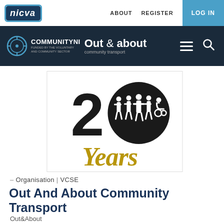nicva | ABOUT  REGISTER  LOG IN
COMMUNITY NI | Out & about community transport
[Figure (logo): Out & About Community Transport 20 Years anniversary logo — large '20' numeral with circle containing silhouettes of people including one in a wheelchair, with 'Years' in gold cursive script below]
– Organisation | VCSE
Out And About Community Transport
Out&About
UNIT 15 STATION ROAD INDUSTRIAL ESTATE, UNIT 15, MAGHERAFELT, BT45 5EX